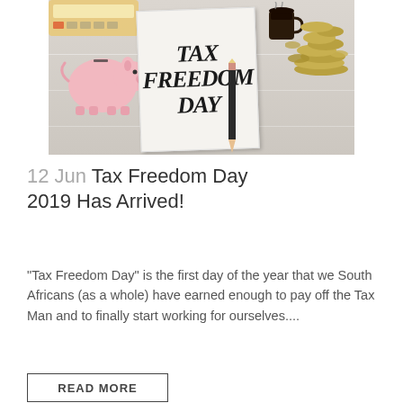[Figure (photo): Photo of a notepad with 'TAX FREEDOM DAY' written in large handwritten letters, accompanied by a pink piggy bank, scattered coins, a coffee cup, a pencil, and a calculator on a white wooden surface.]
12 Jun Tax Freedom Day 2019 Has Arrived!
"Tax Freedom Day" is the first day of the year that we South Africans (as a whole) have earned enough to pay off the Tax Man and to finally start working for ourselves....
READ MORE